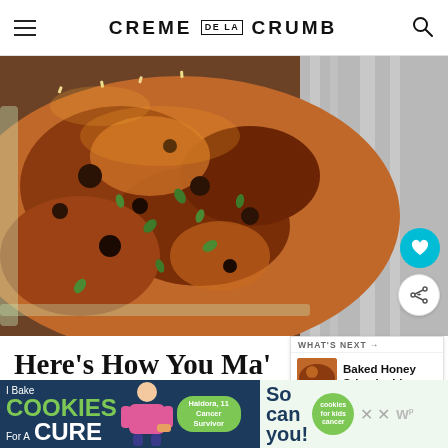CREME DE LA CRUMB
[Figure (photo): Close-up photo of glazed baked salmon with caramelized honey sriracha topping, garnished with fresh herbs, in a foil-lined baking dish. The salmon has a dark, charred caramelized glaze with green herb garnish visible.]
Here's How You Ma…
WHAT'S NEXT → Baked Honey Sriracha Lim…
Are you ready to bake up the best baked salmon of you…
[Figure (infographic): Advertisement banner: I Bake COOKIES For A CURE featuring Haldora, 11 Cancer Survivor. So can you! cookies for kids cancer.]